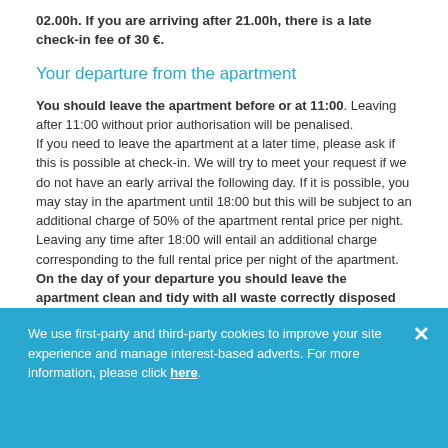02.00h. If you are arriving after 21.00h, there is a late check-in fee of 30 €.
Your departure from the apartment
You should leave the apartment before or at 11:00. Leaving after 11:00 without prior authorisation will be penalised. If you need to leave the apartment at a later time, please ask if this is possible at check-in. We will try to meet your request if we do not have an early arrival the following day. If it is possible, you may stay in the apartment until 18:00 but this will be subject to an additional charge of 50% of the apartment rental price per night. Leaving any time after 18:00 will entail an additional charge corresponding to the full rental price per night of the apartment. On the day of your departure you should leave the apartment clean and tidy with all waste correctly disposed of. Please leave the keys on the table and close the door behind you.
We use first-party and third-party cookies to improve your site experience and manage interest-based adverts. For more information, please click here.